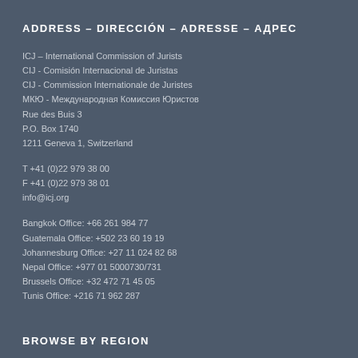ADDRESS – DIRECCIÓN – ADRESSE – АДРЕС
ICJ – International Commission of Jurists
CIJ - Comisión Internacional de Juristas
CIJ - Commission Internationale de Juristes
МКЮ - Международная Комиссия Юристов
Rue des Buis 3
P.O. Box 1740
1211 Geneva 1, Switzerland
T +41 (0)22 979 38 00
F +41 (0)22 979 38 01
info@icj.org
Bangkok Office: +66 261 984 77
Guatemala Office: +502 23 60 19 19
Johannesburg Office: +27 11 024 82 68
Nepal Office: +977 01 5000730/731
Brussels Office: +32 472 71 45 05
Tunis Office: +216 71 962 287
BROWSE BY REGION